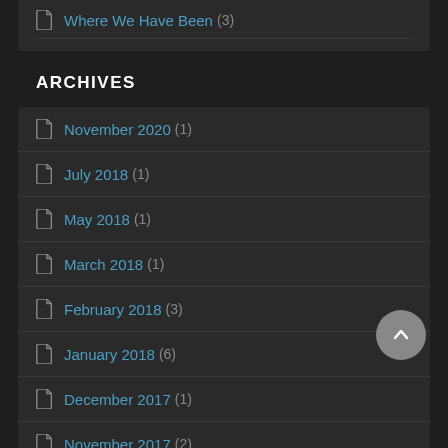Where We Have Been (3)
ARCHIVES
November 2020 (1)
July 2018 (1)
May 2018 (1)
March 2018 (1)
February 2018 (3)
January 2018 (6)
December 2017 (1)
November 2017 (2)
October 2017 (6)